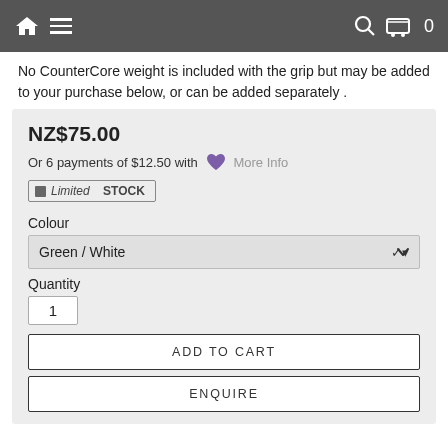Navigation bar with home icon, hamburger menu, search icon, cart icon, 0
No CounterCore weight is included with the grip but may be added to your purchase below, or can be added separately .
NZ$75.00
Or 6 payments of $12.50 with [Laybuy heart] More Info
Limited STOCK
Colour
Green / White
Quantity
1
ADD TO CART
ENQUIRE